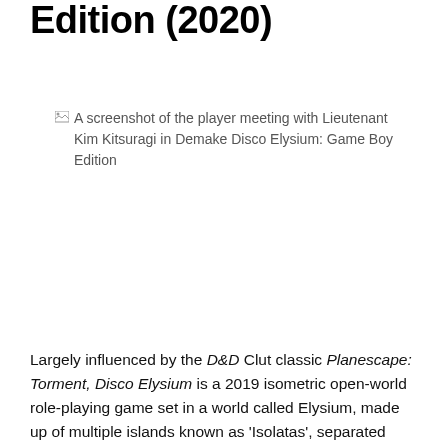Edition (2020)
[Figure (screenshot): A screenshot of the player meeting with Lieutenant Kim Kitsuragi in Demake Disco Elysium: Game Boy Edition]
A screenshot of the player meeting with Lieutenant Kim Kitsuragi in Demake Disco Elysium: Game Boy Edition
Largely influenced by the D&D Clut classic Planescape: Torment, Disco Elysium is a 2019 isometric open-world role-playing game set in a world called Elysium, made up of multiple islands known as 'Isolatas', separated